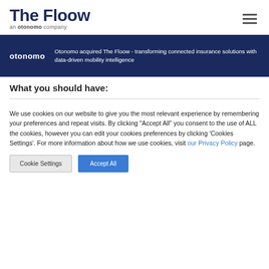[Figure (logo): The Floow logo — bold dark blue text 'The Floow' with tagline 'an otonomo company' below in smaller gray text]
[Figure (other): Hamburger menu icon (three horizontal lines) in top right corner]
[Figure (logo): Otonomo logo in white on dark navy banner]
Otonomo acquired The Floow - transforming connected insurance solutions with data-driven mobility intelligence
What you should have:
We use cookies on our website to give you the most relevant experience by remembering your preferences and repeat visits. By clicking "Accept All" you consent to the use of ALL the cookies, however you can edit your cookies preferences by clicking 'Cookies Settings'. For more information about how we use cookies, visit our Privacy Policy page.